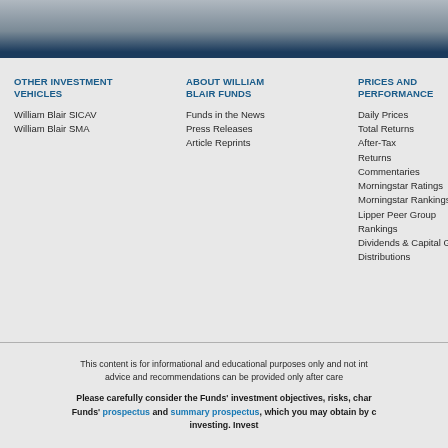[Figure (photo): Top banner image showing financial/business imagery in blue-gray tones with a dark navy bar at the bottom]
OTHER INVESTMENT VEHICLES
William Blair SICAV
William Blair SMA
ABOUT WILLIAM BLAIR FUNDS
Funds in the News
Press Releases
Article Reprints
PRICES AND PERFORMANCE
Daily Prices
Total Returns
After-Tax Returns
Commentaries
Morningstar Ratings
Morningstar Rankings
Lipper Peer Group Rankings
Dividends & Capital Gains Distributions
This content is for informational and educational purposes only and not int... advice and recommendations can be provided only after care...
Please carefully consider the Funds' investment objectives, risks, char... Funds' prospectus and summary prospectus, which you may obtain by c... investing. Invest...